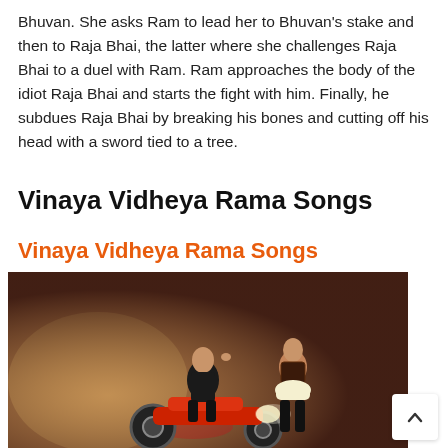Bhuvan. She asks Ram to lead her to Bhuvan's stake and then to Raja Bhai, the latter where she challenges Raja Bhai to a duel with Ram. Ram approaches the body of the idiot Raja Bhai and starts the fight with him. Finally, he subdues Raja Bhai by breaking his bones and cutting off his head with a sword tied to a tree.
Vinaya Vidheya Rama Songs
Vinaya Vidheya Rama Songs
[Figure (photo): A man in dark clothes sitting on a red motorcycle and a woman in a corset and short skirt standing beside him, in a dramatic film promotional still.]